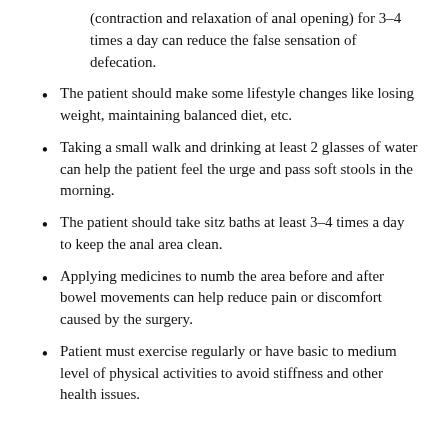(contraction and relaxation of anal opening) for 3–4 times a day can reduce the false sensation of defecation.
The patient should make some lifestyle changes like losing weight, maintaining balanced diet, etc.
Taking a small walk and drinking at least 2 glasses of water can help the patient feel the urge and pass soft stools in the morning.
The patient should take sitz baths at least 3–4 times a day to keep the anal area clean.
Applying medicines to numb the area before and after bowel movements can help reduce pain or discomfort caused by the surgery.
Patient must exercise regularly or have basic to medium level of physical activities to avoid stiffness and other health issues.